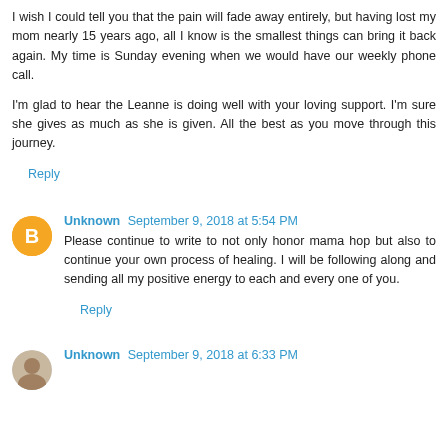I wish I could tell you that the pain will fade away entirely, but having lost my mom nearly 15 years ago, all I know is the smallest things can bring it back again. My time is Sunday evening when we would have our weekly phone call.
I'm glad to hear the Leanne is doing well with your loving support. I'm sure she gives as much as she is given. All the best as you move through this journey.
Reply
Unknown  September 9, 2018 at 5:54 PM
Please continue to write to not only honor mama hop but also to continue your own process of healing. I will be following along and sending all my positive energy to each and every one of you.
Reply
Unknown  September 9, 2018 at 6:33 PM